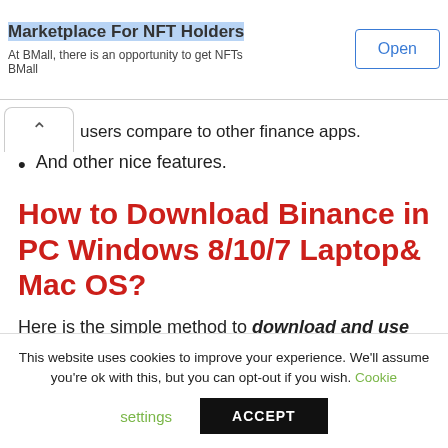[Figure (screenshot): Ad banner: 'Marketplace For NFT Holders' with subtitle 'At BMall, there is an opportunity to get NFTs BMall' and an 'Open' button]
users compare to other finance apps.
And other nice features.
How to Download Binance in PC Windows 8/10/7 Laptop& Mac OS?
Here is the simple method to download and use
This website uses cookies to improve your experience. We'll assume you're ok with this, but you can opt-out if you wish. Cookie settings ACCEPT